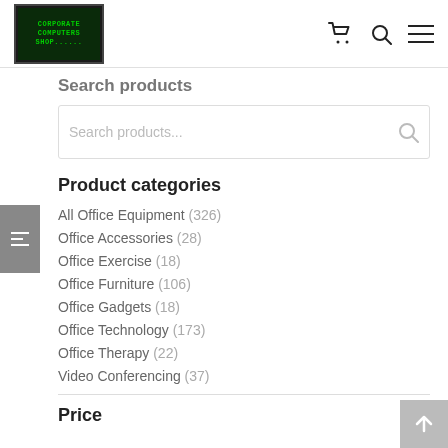[Figure (logo): Corporate Computers Shop logo - laptop with green matrix-style text on dark background]
Search products
[Figure (screenshot): Search products input box with placeholder text 'Search products...' and search icon]
Product categories
All Office Equipment (326)
Office Accessories (28)
Office Exercise (18)
Office Furniture (106)
Office Gadgets (18)
Office Technology (173)
Office Therapy (22)
Video Conferencing (37)
Price